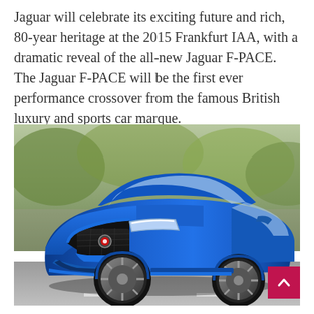Jaguar will celebrate its exciting future and rich, 80-year heritage at the 2015 Frankfurt IAA, with a dramatic reveal of the all-new Jaguar F-PACE. The Jaguar F-PACE will be the first ever performance crossover from the famous British luxury and sports car marque.
[Figure (photo): A blue Jaguar F-PACE performance crossover SUV driving on a road, photographed from a front three-quarter angle. The car is metallic blue with large alloy wheels, against a blurred background of trees and road.]